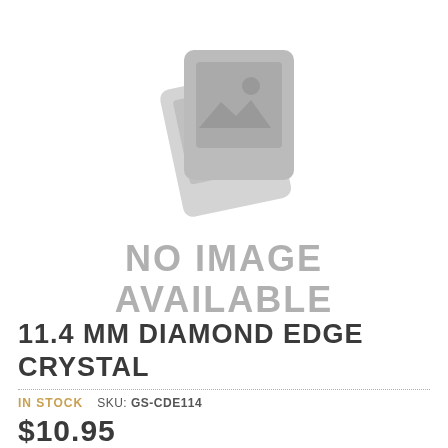[Figure (illustration): No image available placeholder icon showing two overlapping image frames with a mountain/landscape icon, rendered in light gray]
11.4 MM DIAMOND EDGE CRYSTAL
IN STOCK   SKU: GS-CDE114
$10.95